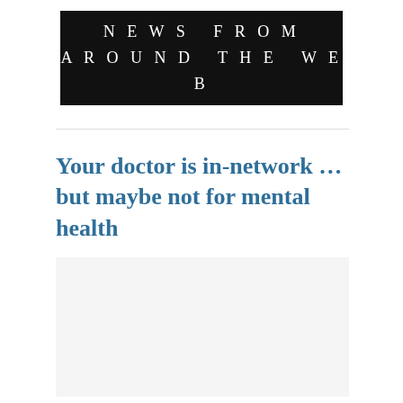NEWS FROM AROUND THE WEB
Your doctor is in-network … but maybe not for mental health
[Figure (photo): A light gray placeholder image block beneath the article title]